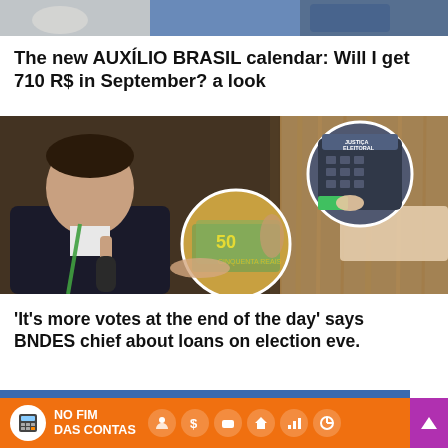[Figure (photo): Top banner image showing partial view of items, cropped]
The new AUXÍLIO BRASIL calendar: Will I get 710 R$ in September? a look
[Figure (photo): Main news image: Man in suit speaking into microphone, with circular overlays showing Brazilian currency notes and an electronic voting machine (Justiça Eleitoral)]
'It's more votes at the end of the day' says BNDES chief about loans on election eve.
[Figure (screenshot): Bottom banner: 'NO FIM DAS CONTAS' TV/web program logo with orange and blue design, icons and purple scroll-up button]